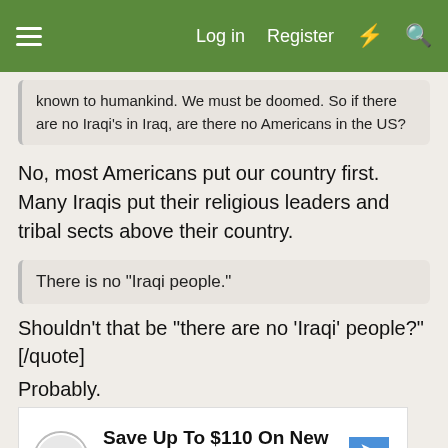Log in  Register
known to humankind. We must be doomed. So if there are no Iraqi's in Iraq, are there no Americans in the US?
No, most Americans put our country first. Many Iraqis put their religious leaders and tribal sects above their country.
There is no "Iraqi people."
Shouldn't that be "there are no 'Iraqi' people?"[/quote]
Probably.
[Figure (infographic): Advertisement banner: Save Up To $110 On New Tires - VirginiaTire & Auto of Ashburn Fa.]